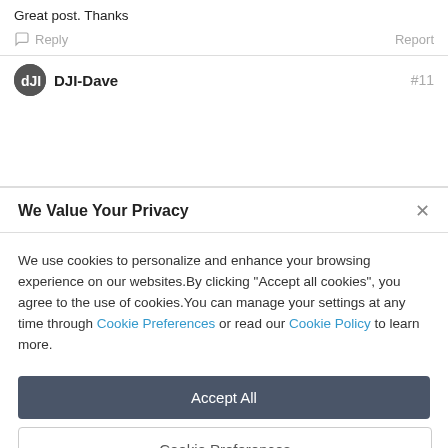Great post. Thanks
Reply    Report
DJI-Dave    #11
We Value Your Privacy
We use cookies to personalize and enhance your browsing experience on our websites.By clicking "Accept all cookies", you agree to the use of cookies.You can manage your settings at any time through Cookie Preferences or read our Cookie Policy to learn more.
Accept All
Cookie Preferences